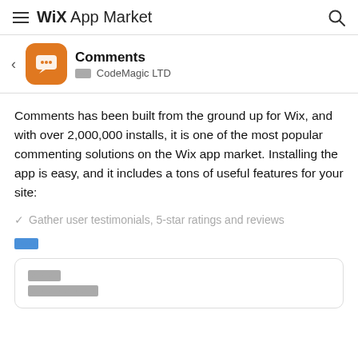WiX App Market
Comments — ▪▪▪▪ CodeMagic LTD
Comments has been built from the ground up for Wix, and with over 2,000,000 installs, it is one of the most popular commenting solutions on the Wix app market. Installing the app is easy, and it includes a tons of useful features for your site:
✓ Gather user testimonials, 5-star ratings and reviews
▪▪▪▪▪ (see more link)
▪▪▪▪▪▪▪ / ▪▪▪▪▪▪▪▪▪▪▪▪▪▪▪▪ (review box)